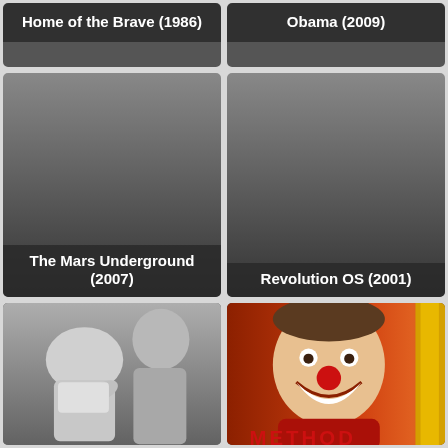[Figure (photo): Movie thumbnail for 'Home of the Brave (1986)' - dark background with title label]
[Figure (photo): Movie thumbnail for 'Obama (2009)' - dark background with title label]
[Figure (photo): Movie thumbnail for 'The Mars Underground (2007)' - dark/grey background with title label]
[Figure (photo): Movie thumbnail for 'Revolution OS (2001)' - dark/grey background with title label]
[Figure (photo): Black and white photo showing two people, one bending toward the other]
[Figure (photo): Color movie poster showing a man with a red clown nose laughing, text 'METHOD' at bottom, orange/red background with vertical yellow bar]